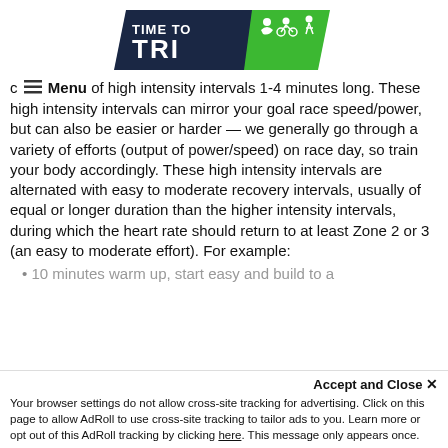[Figure (logo): Time To Tri logo — dark navy parallelogram with 'TIME TO TRI' text and green parallelogram with triathlon sport icons (swimmer, cyclist, runner)]
c ☰ Menu of high intensity intervals 1-4 minutes long. These high intensity intervals can mirror your goal race speed/power, but can also be easier or harder — we generally go through a variety of efforts (output of power/speed) on race day, so train your body accordingly. These high intensity intervals are alternated with easy to moderate recovery intervals, usually of equal or longer duration than the higher intensity intervals, during which the heart rate should return to at least Zone 2 or 3 (an easy to moderate effort). For example:
10 minutes warm up, start easy and build to a...
Accept and Close ✕
Your browser settings do not allow cross-site tracking for advertising. Click on this page to allow AdRoll to use cross-site tracking to tailor ads to you. Learn more or opt out of this AdRoll tracking by clicking here. This message only appears once.